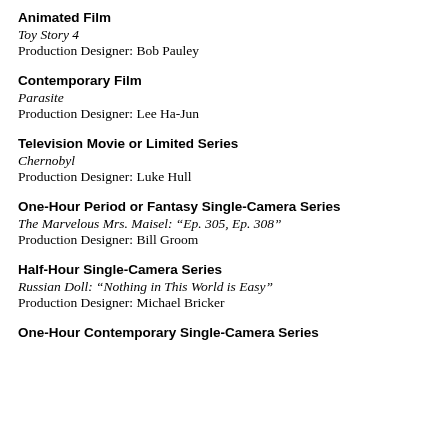Animated Film
Toy Story 4
Production Designer: Bob Pauley
Contemporary Film
Parasite
Production Designer: Lee Ha-Jun
Television Movie or Limited Series
Chernobyl
Production Designer: Luke Hull
One-Hour Period or Fantasy Single-Camera Series
The Marvelous Mrs. Maisel: “Ep. 305, Ep. 308”
Production Designer: Bill Groom
Half-Hour Single-Camera Series
Russian Doll: “Nothing in This World is Easy”
Production Designer: Michael Bricker
One-Hour Contemporary Single-Camera Series